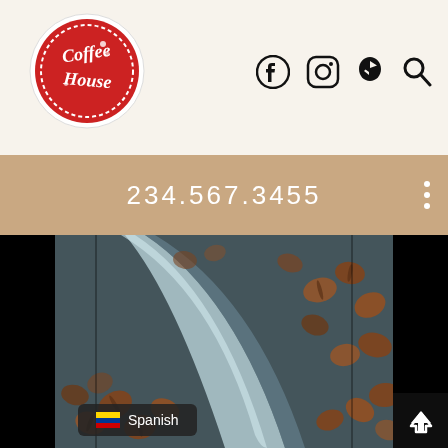[Figure (logo): Coffee House circular red logo with white script text]
Facebook, Instagram, Yelp, Search social/nav icons
234.567.3455
[Figure (photo): Close-up photo of coffee beans scattered around a metal spoon on a dark surface]
Spanish